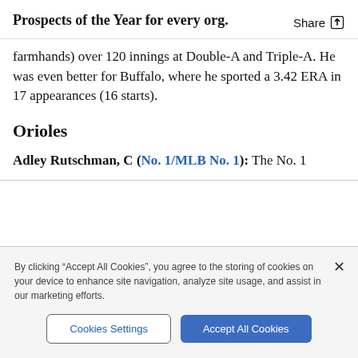Prospects of the Year for every org.
farmhands) over 120 innings at Double-A and Triple-A. He was even better for Buffalo, where he sported a 3.42 ERA in 17 appearances (16 starts).
Orioles
Adley Rutschman, C (No. 1/MLB No. 1): The No. 1
By clicking "Accept All Cookies", you agree to the storing of cookies on your device to enhance site navigation, analyze site usage, and assist in our marketing efforts.